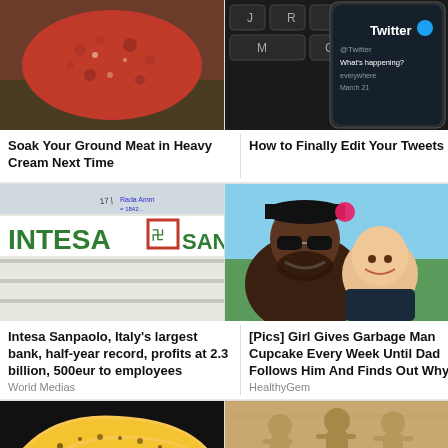[Figure (photo): Raw ground meat on a surface]
Soak Your Ground Meat in Heavy Cream Next Time
[Figure (photo): Twitter app on a phone screen next to keyboard]
How to Finally Edit Your Tweets
[Figure (photo): Intesa Sanpaolo bank sign]
Intesa Sanpaolo, Italy’s largest bank, half-year record, profits at 2.3 billion, 500eur to employees
World Medias
[Figure (photo): Man with sunglasses and a little girl smiling]
[Pics] Girl Gives Garbage Man Cupcake Every Week Until Dad Follows Him And Finds Out Why
HealthyGem
[Figure (photo): Spotted ripe bananas on dark background]
Breakfast: 15 Foods You Should Never Eat In The Morning
[Figure (photo): Ancient stone carvings of figures]
10 Wince-Inducing Sex-Related Injuries from Around the World